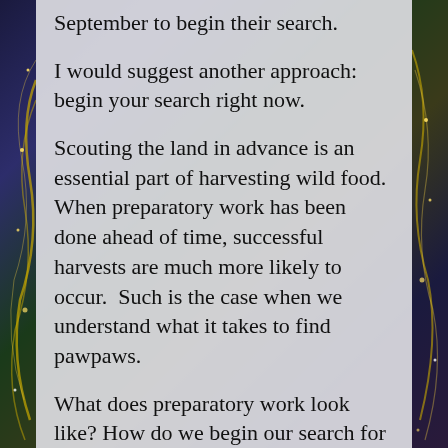September to begin their search.
I would suggest another approach:  begin your search right now.
Scouting the land in advance is an essential part of harvesting wild food. When preparatory work has been done ahead of time, successful harvests are much more likely to occur.  Such is the case when we understand what it takes to find pawpaws.
What does preparatory work look like? How do we begin our search for pawpaws?